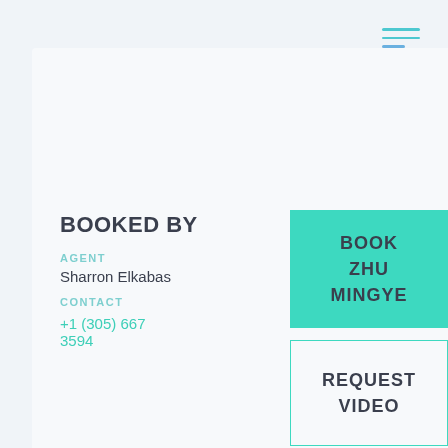[Figure (illustration): Hamburger menu icon with three horizontal lines in teal/blue at top right]
BOOKED BY
AGENT
Sharron Elkabas
CONTACT
+1 (305) 667 3594
BOOK ZHU MINGYE
REQUEST VIDEO